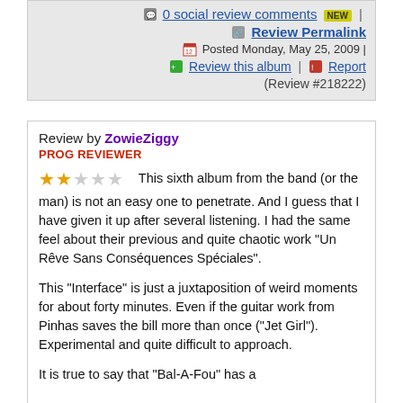0 social review comments NEW | Review Permalink | Posted Monday, May 25, 2009 | Review this album | Report | (Review #218222)
Review by ZowieZiggy
PROG REVIEWER
★★☆☆☆ This sixth album from the band (or the man) is not an easy one to penetrate. And I guess that I have given it up after several listening. I had the same feel about their previous and quite chaotic work "Un Rêve Sans Conséquences Spéciales".

This "Interface" is just a juxtaposition of weird moments for about forty minutes. Even if the guitar work from Pinhas saves the bill more than once ("Jet Girl"). Experimental and quite difficult to approach.

It is true to say that "Bal-A-Fou" has a...